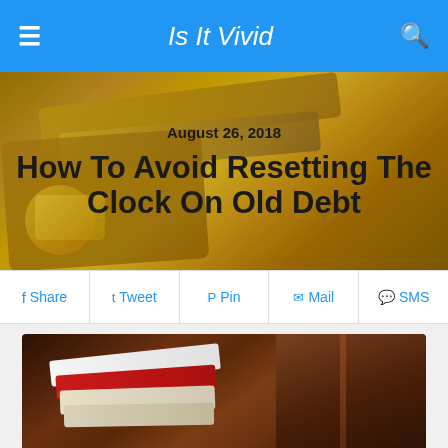Is It Vivid
[Figure (photo): Golden credit cards fanned out on a golden background, hero banner image]
August 26, 2018
How To Avoid Resetting The Clock On Old Debt
Share  Tweet  Pin  Mail  SMS
[Figure (photo): Close-up photo of a brown leather wallet stuffed with credit cards]